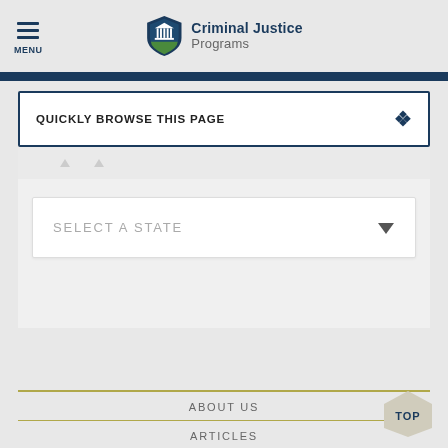MENU | Criminal Justice Programs
QUICKLY BROWSE THIS PAGE
SELECT A STATE
ABOUT US
ARTICLES
TOP